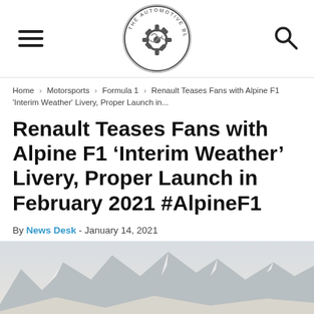The Automotive Blog — navigation bar with hamburger menu, logo, and search icon
Home › Motorsports › Formula 1 › Renault Teases Fans with Alpine F1 'Interim Weather' Livery, Proper Launch in...
Renault Teases Fans with Alpine F1 'Interim Weather' Livery, Proper Launch in February 2021 #AlpineF1
By News Desk - January 14, 2021
[Figure (photo): Wide panoramic photo of snowy alpine mountain landscape with peaks and snow-covered terrain, partially cropped hero image]